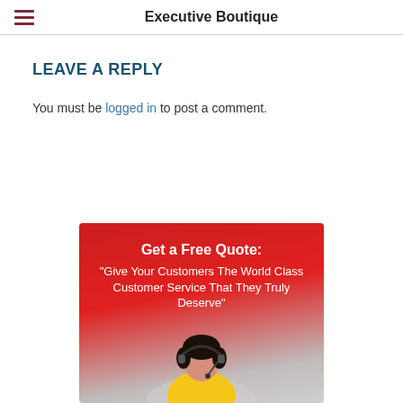Executive Boutique
LEAVE A REPLY
You must be logged in to post a comment.
[Figure (infographic): Red advertisement banner reading 'Get a Free Quote: Give Your Customers The World Class Customer Service That They Truly Deserve' with a person wearing a headset below]